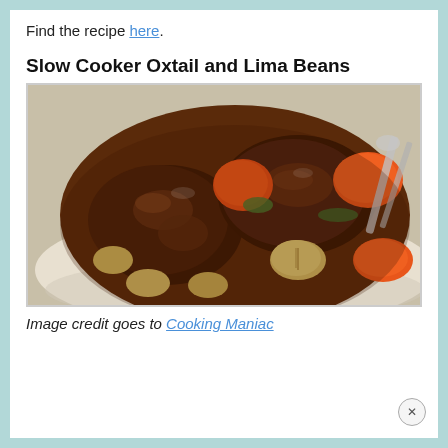Find the recipe here.
Slow Cooker Oxtail and Lima Beans
[Figure (photo): A bowl of slow cooker oxtail and lima beans served over white rice, with carrots and beans visible, with a fork/spoon in the background.]
Image credit goes to Cooking Maniac